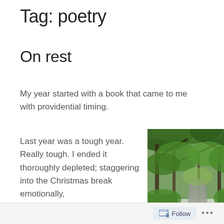Tag: poetry
On rest
My year started with a book that came to me with providential timing.
Last year was a tough year. Really tough. I ended it thoroughly depleted; staggering into the Christmas break emotionally,
[Figure (photo): A forest path lined with green trees and foliage, overhanging branches forming a canopy, photographed in natural daylight.]
Follow ...